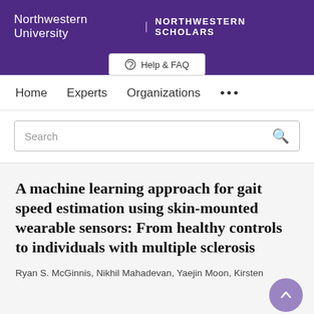Northwestern University | NORTHWESTERN SCHOLARS
Help & FAQ
Home   Experts   Organizations   ...
Search
A machine learning approach for gait speed estimation using skin-mounted wearable sensors: From healthy controls to individuals with multiple sclerosis
Ryan S. McGinnis, Nikhil Mahadevan, Yaejin Moon, Kirsten